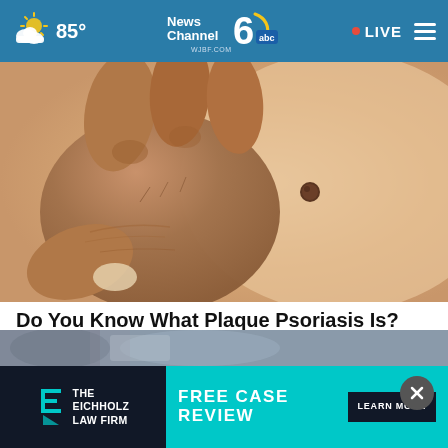85° News Channel 6 abc WJBF.COM • LIVE
[Figure (photo): Close-up photo of a hand touching skin with a mole/lesion, depicting plaque psoriasis symptom.]
Do You Know What Plaque Psoriasis Is? (Take a Look)
Plaque Psoriasis Treatment | S
[Figure (photo): Second article photo partially visible at bottom.]
[Figure (infographic): Advertisement banner: The Eichholz Law Firm - Free Case Review - Learn More]